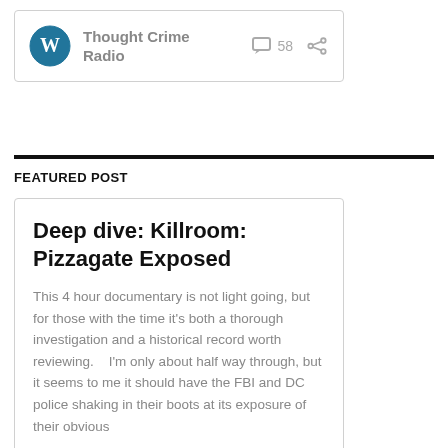[Figure (logo): WordPress logo with blog name 'Thought Crime Radio', comment icon with count 58, and share icon]
FEATURED POST
Deep dive: Killroom: Pizzagate Exposed
This 4 hour documentary is not light going, but for those with the time it's both a thorough investigation and a historical record worth reviewing.    I'm only about half way through, but it seems to me it should have the FBI and DC police shaking in their boots at its exposure of their obvious